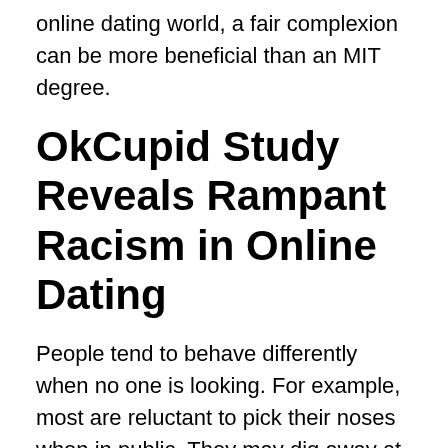online dating world, a fair complexion can be more beneficial than an MIT degree.
OkCupid Study Reveals Rampant Racism in Online Dating
People tend to behave differently when no one is looking. For example, most are reluctant to pick their noses when in public. They may dig away at their nostrils or perform other unsavory actions in private. Humans are animals. The only difference is that our consciousness also gives us the ability to believe we're better than